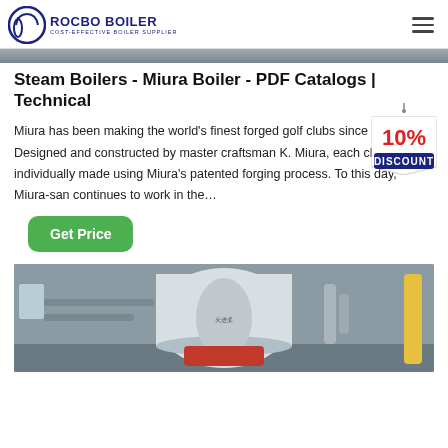ROCBO BOILER - COST-EFFECTIVE BOILER SUPPLIER
[Figure (photo): Partial view of industrial boiler equipment, top banner strip]
Steam Boilers - Miura Boiler - PDF Catalogs | Technical
Miura has been making the world's finest forged golf clubs since 1957. Designed and constructed by master craftsman K. Miura, each club is individually made using Miura's patented forging process. To this day, Miura-san continues to work in the…
[Figure (illustration): 10% DISCOUNT badge/sticker graphic in red and blue with string hanger]
Get Price
[Figure (photo): Industrial boiler in a factory setting, large cylindrical white boiler tank with pipes and yellow gas lines]